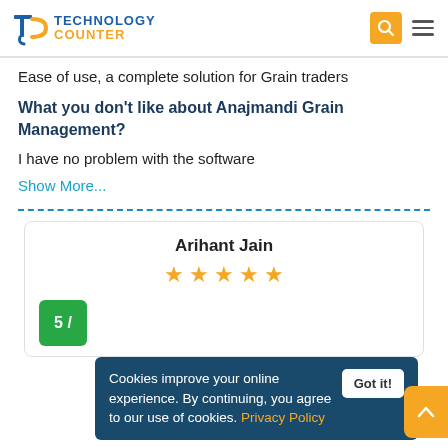Technology Counter
Ease of use, a complete solution for Grain traders
What you don't like about Anajmandi Grain Management?
I have no problem with the software
Show More...
Arihant Jain
★ ★ ★ ★ ★
5 /
Cookies improve your online experience. By continuing, you agree to our use of cookies. Privacy Policy